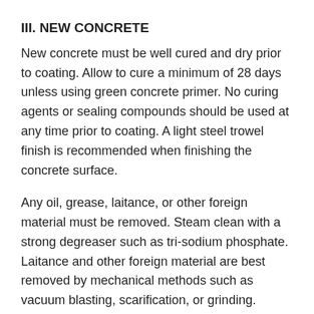III. NEW CONCRETE
New concrete must be well cured and dry prior to coating. Allow to cure a minimum of 28 days unless using green concrete primer. No curing agents or sealing compounds should be used at any time prior to coating. A light steel trowel finish is recommended when finishing the concrete surface.
Any oil, grease, laitance, or other foreign material must be removed. Steam clean with a strong degreaser such as tri-sodium phosphate. Laitance and other foreign material are best removed by mechanical methods such as vacuum blasting, scarification, or grinding.
All new concrete can be acid etched or mechanically prepared by vacuum shotblasting, sand blasting, scarifying, or grinding. Vacuum shot-blasting provides the